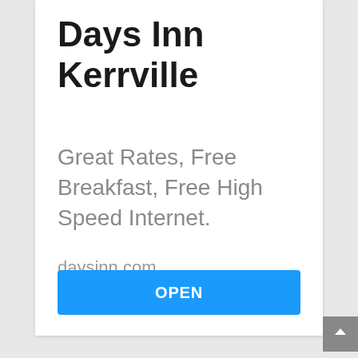Days Inn Kerrville
Great Rates, Free Breakfast, Free High Speed Internet.
daysinn.com
OPEN